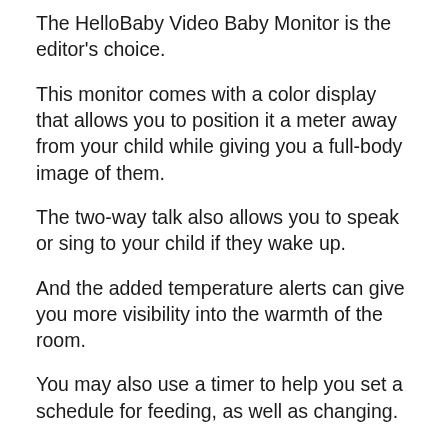The HelloBaby Video Baby Monitor is the editor's choice.
This monitor comes with a color display that allows you to position it a meter away from your child while giving you a full-body image of them.
The two-way talk also allows you to speak or sing to your child if they wake up.
And the added temperature alerts can give you more visibility into the warmth of the room.
You may also use a timer to help you set a schedule for feeding, as well as changing.